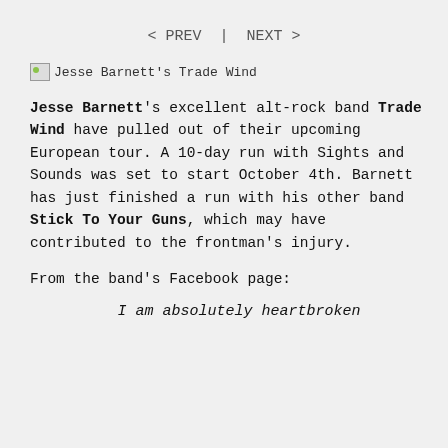< PREV | NEXT >
[Figure (photo): Jesse Barnett's Trade Wind album/band image placeholder]
Jesse Barnett's excellent alt-rock band Trade Wind have pulled out of their upcoming European tour. A 10-day run with Sights and Sounds was set to start October 4th. Barnett has just finished a run with his other band Stick To Your Guns, which may have contributed to the frontman's injury.
From the band's Facebook page:
I am absolutely heartbroken